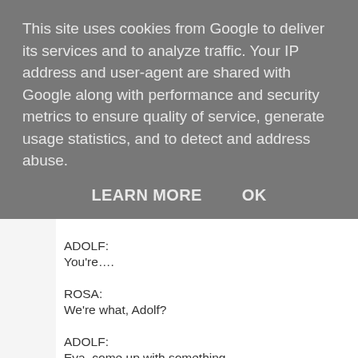This site uses cookies from Google to deliver its services and to analyze traffic. Your IP address and user-agent are shared with Google along with performance and security metrics to ensure quality of service, generate usage statistics, and to detect and address abuse.
LEARN MORE    OK
you're….
ARNY:
Yes?
ADOLF:
You're….
ROSA:
We're what, Adolf?
ADOLF:
Eva, come up with something
EVA: